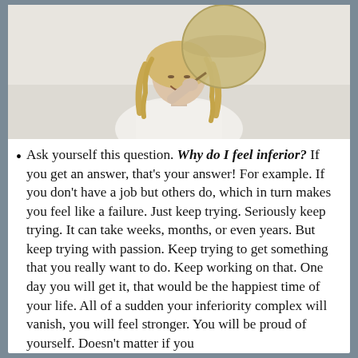[Figure (photo): A smiling blonde woman holding a large round balloon (straw hat-colored) above her head, wearing a white outfit, photographed from below against a light background.]
Ask yourself this question. Why do I feel inferior? If you get an answer, that's your answer! For example. If you don't have a job but others do, which in turn makes you feel like a failure. Just keep trying. Seriously keep trying. It can take weeks, months, or even years. But keep trying with passion. Keep trying to get something that you really want to do. Keep working on that. One day you will get it, that would be the happiest time of your life. All of a sudden your inferiority complex will vanish, you will feel stronger. You will be proud of yourself. Doesn't matter if you